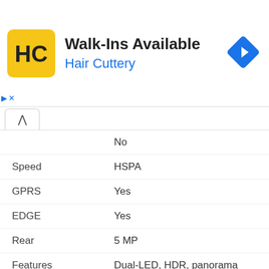[Figure (screenshot): Hair Cuttery advertisement banner with yellow logo, 'Walk-Ins Available' title, 'Hair Cuttery' subtitle in blue, and a blue diamond navigation arrow icon on the right.]
| Attribute | Value |
| --- | --- |
|  | No |
| Speed | HSPA |
| GPRS | Yes |
| EDGE | Yes |
| CAMERA |  |
| Rear | 5 MP |
| Features | Dual-LED, HDR, panorama |
| Videos | 1080p@30fps |
| Front | 8 MP, f/2.0 |
| HARDWARE |  |
| OS | Android 8.1 Oreo (Go edition) |
| Chipset | Mediatek MT6580M |